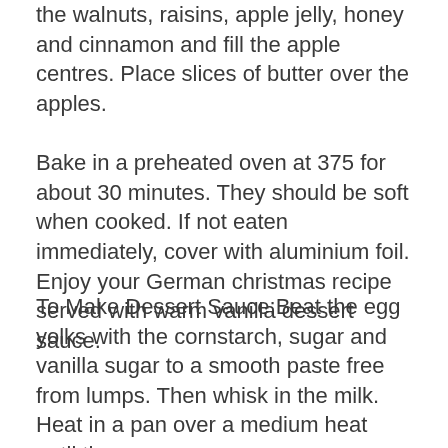the walnuts, raisins, apple jelly, honey and cinnamon and fill the apple centres. Place slices of butter over the apples.
Bake in a preheated oven at 375 for about 30 minutes. They should be soft when cooked. If not eaten immediately, cover with aluminium foil. Enjoy your German christmas recipe served with warm vanilla dessert sauce.
To Make Dessert Sauce:Beat the egg yolks with the cornstarch, sugar and vanilla sugar to a smooth paste free from lumps. Then whisk in the milk.
Split the vanilla pod lengthways and scrape out the seeds. Mix the seeds and pod into the egg and milk mixture.
Heat in a pan over a medium heat until the sauce